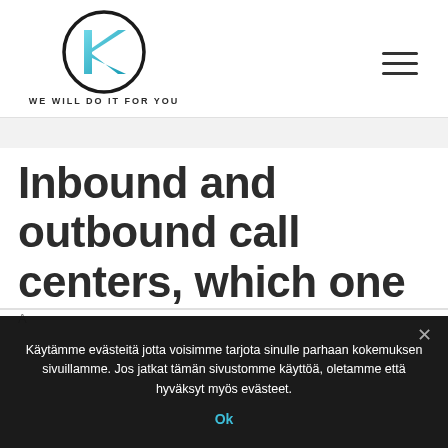[Figure (logo): K logo with circle and 'WE WILL DO IT FOR YOU' tagline below]
Inbound and outbound call centers, which one
Käytämme evästeitä jotta voisimme tarjota sinulle parhaan kokemuksen sivuillamme. Jos jatkat tämän sivustomme käyttöä, oletamme että hyväksyt myös evästeet.
Ok